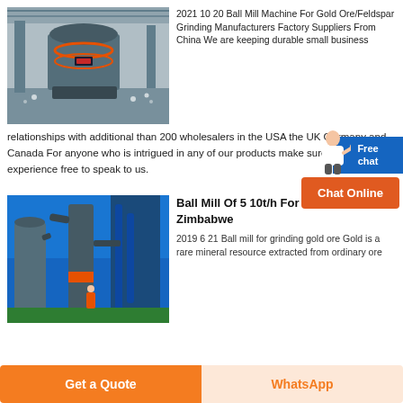[Figure (photo): Industrial ball mill machine inside a large factory hall with heavy equipment]
2021 10 20 Ball Mill Machine For Gold Ore/Feldspar Grinding Manufacturers Factory Suppliers From China We are keeping durable small business relationships with additional than 200 wholesalers in the USA the UK Germany and Canada For anyone who is intrigued in any of our products make sure you experience free to speak to us.
[Figure (other): Free chat widget with blue box and person illustration, orange Chat Online button]
[Figure (photo): Industrial grinding mill equipment with pipes and silos, blue sky background]
Ball Mill Of 5 10t/h For The Gold Ore In Zimbabwe
2019 6 21 Ball mill for grinding gold ore Gold is a rare mineral resource extracted from ordinary ore
Get a Quote
WhatsApp